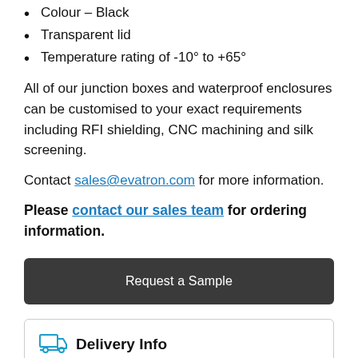Colour – Black
Transparent lid
Temperature rating of -10° to +65°
All of our junction boxes and waterproof enclosures can be customised to your exact requirements including RFI shielding, CNC machining and silk screening.
Contact sales@evatron.com for more information.
Please contact our sales team for ordering information.
Request a Sample
Delivery Info